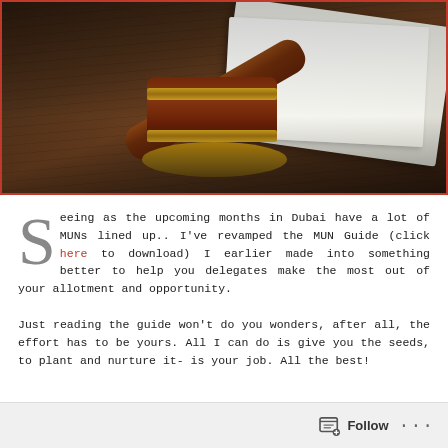[Figure (photo): A wooden judge's gavel resting on its sound block on a wooden table, with papers/documents visible in the background and a person's hands partially visible.]
Seeing as the upcoming months in Dubai have a lot of MUNs lined up.. I've revamped the MUN Guide (click here to download) I earlier made into something better to help you delegates make the most out of your allotment and opportunity.
Just reading the guide won't do you wonders, after all, the effort has to be yours. All I can do is give you the seeds, to plant and nurture it- is your job. All the best!
Follow ···